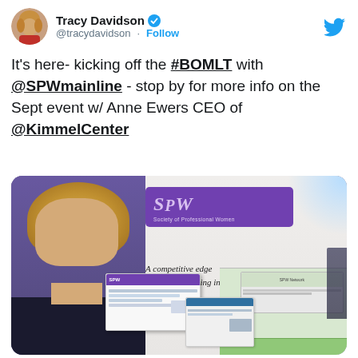[Figure (screenshot): Twitter/X post by Tracy Davidson (@tracydavidson) with verified badge and Follow button. Post text reads: It's here- kicking off the #BOMLT with @SPWmainline - stop by for more info on the Sept event w/ Anne Ewers CEO of @KimmelCenter. Below the text is a photo of a woman (Tracy Davidson) standing at an SPW (Society of Professional Women) exhibit booth holding brochures, with a purple SPW banner in the background reading 'A competitive edge for women leading in the 21st Century'.]